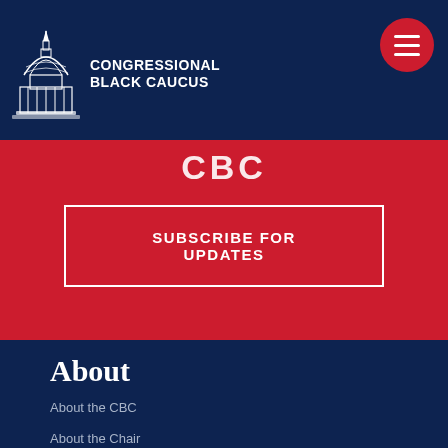[Figure (logo): Congressional Black Caucus logo with US Capitol dome illustration and text 'CONGRESSIONAL BLACK CAUCUS']
CBC
SUBSCRIBE FOR UPDATES
About
About the CBC
About the Chair
CBC Leadership
CBC Agenda
Membership